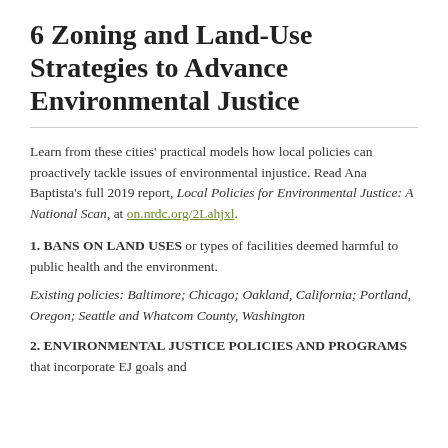6 Zoning and Land-Use Strategies to Advance Environmental Justice
Learn from these cities' practical models how local policies can proactively tackle issues of environmental injustice. Read Ana Baptista's full 2019 report, Local Policies for Environmental Justice: A National Scan, at on.nrdc.org/2Lahjxl.
1. BANS ON LAND USES or types of facilities deemed harmful to public health and the environment.
Existing policies: Baltimore; Chicago; Oakland, California; Portland, Oregon; Seattle and Whatcom County, Washington
2. ENVIRONMENTAL JUSTICE POLICIES AND PROGRAMS that incorporate EJ goals and